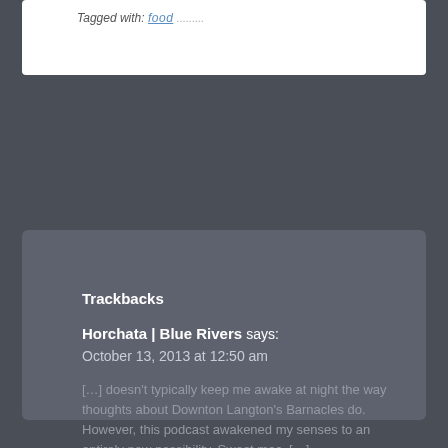Tagged with: food .........
Trackbacks
Horchata | Blue Rivers says:
October 13, 2013 at 12:50 am
[…] doesn't typically keep me awake at night the way thoughts about Downton Langton's Barnacles do. However, this podcast awakened my senses to an entirely new possibility. Sweet mac. […]